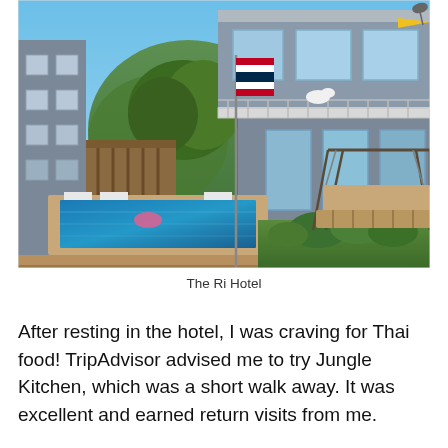[Figure (photo): Exterior photo of The Ri Hotel showing a grey multi-storey building with a balcony, an outdoor swimming pool in the foreground, a Thai flag on a pole, a swing bench seating area on the right, green bushes, and a forested hill in the background under a blue sky.]
The Ri Hotel
After resting in the hotel, I was craving for Thai food! TripAdvisor advised me to try Jungle Kitchen, which was a short walk away. It was excellent and earned return visits from me.